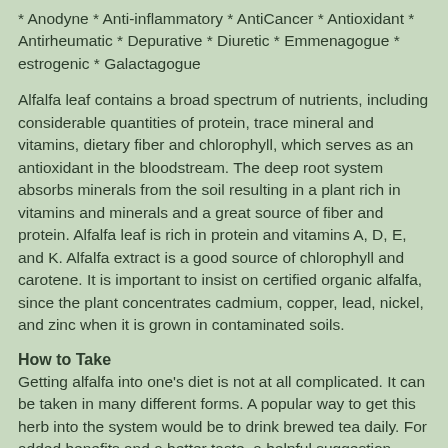* Anodyne * Anti-inflammatory * AntiCancer * Antioxidant * Antirheumatic * Depurative * Diuretic * Emmenagogue * estrogenic * Galactagogue
Alfalfa leaf contains a broad spectrum of nutrients, including considerable quantities of protein, trace mineral and vitamins, dietary fiber and chlorophyll, which serves as an antioxidant in the bloodstream. The deep root system absorbs minerals from the soil resulting in a plant rich in vitamins and minerals and a great source of fiber and protein. Alfalfa leaf is rich in protein and vitamins A, D, E, and K. Alfalfa extract is a good source of chlorophyll and carotene. It is important to insist on certified organic alfalfa, since the plant concentrates cadmium, copper, lead, nickel, and zinc when it is grown in contaminated soils.
How to Take
Getting alfalfa into one's diet is not at all complicated. It can be taken in many different forms. A popular way to get this herb into the system would be to drink brewed tea daily. For added benefits and a better taste, a helpful suggestion would be to brew alfalfa tea with another flavored tea, as while the